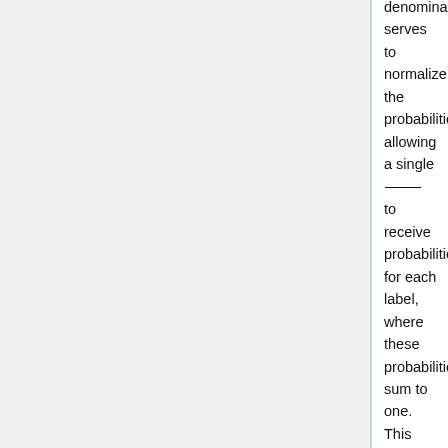denominator serves to normalize the probabilities, allowing a single ____ to receive probabilities for each label, where these probabilities sum to one. This provides a means to choose the highest probability as the corresponding label for the ____.
However, the softmax function does have a computational complexity of O(Kd) where K is the number of classes and d is the number of dimensions in the hidden layer of the neural network. This is due to the nature of the softmax function since each function calculation requires normalizing the probabilities over all potential classes. This runtime is not ideal when the number of classes is large, and for this reason a hierarchical softmax function is used. We can see the